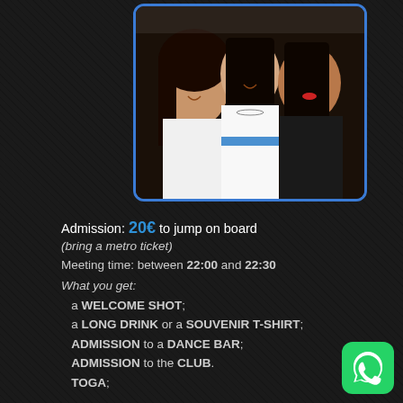[Figure (photo): Three young women smiling, wearing white outfits, at a party or nightclub event]
Admission: 20€ to jump on board
(bring a metro ticket)
Meeting time: between 22:00 and 22:30
What you get:
a WELCOME SHOT;
a LONG DRINK or a SOUVENIR T-SHIRT;
ADMISSION to a DANCE BAR;
ADMISSION to the CLUB.
TOGA;
[Figure (logo): WhatsApp green icon in bottom right corner]